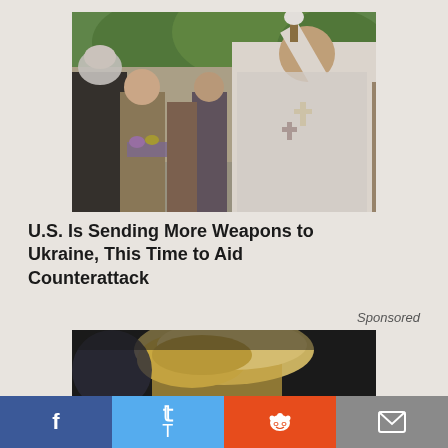[Figure (photo): A Orthodox priest in white vestments holding a cross and a liturgical brush, performing a blessing ceremony outdoors with people gathered around, green trees in background]
U.S. Is Sending More Weapons to Ukraine, This Time to Aid Counterattack
Sponsored
[Figure (photo): Close-up photo of a person with blonde hair, partially visible, dark background]
f  t  reddit  mail — social share buttons bar